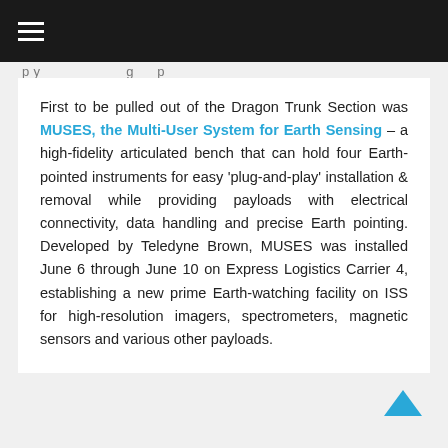☰
First to be pulled out of the Dragon Trunk Section was MUSES, the Multi-User System for Earth Sensing – a high-fidelity articulated bench that can hold four Earth-pointed instruments for easy 'plug-and-play' installation & removal while providing payloads with electrical connectivity, data handling and precise Earth pointing. Developed by Teledyne Brown, MUSES was installed June 6 through June 10 on Express Logistics Carrier 4, establishing a new prime Earth-watching facility on ISS for high-resolution imagers, spectrometers, magnetic sensors and various other payloads.